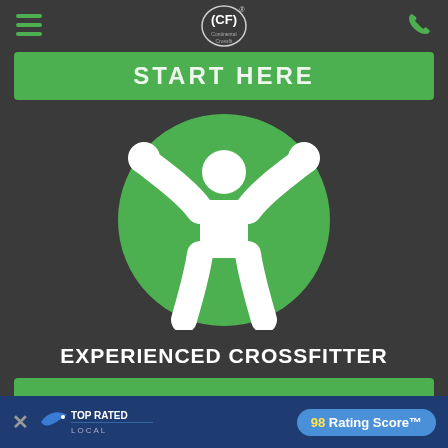CF Continental Crossfit (logo) | Hamburger menu | Phone icon
START HERE (top button, partially visible)
[Figure (illustration): Green circle with white icon of a person raising both arms overhead, resembling a CrossFit athlete]
EXPERIENCED CROSSFITTER
START HERE
TOP RATED LOCAL | 98 Rating Score™